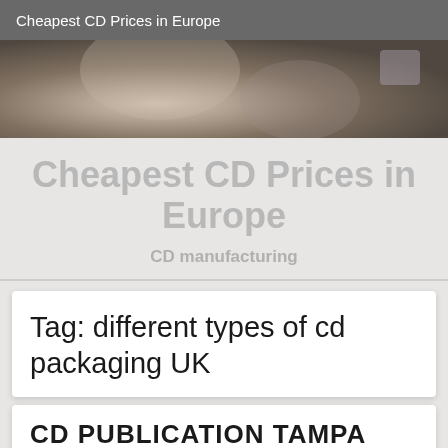Cheapest CD Prices in Europe
[Figure (photo): Close-up photo of a person's ear and neck area, dark background]
Cheapest CD Prices in Europe
CD manufacturing
Tag: different types of cd packaging UK
CD PUBLICATION TAMPA